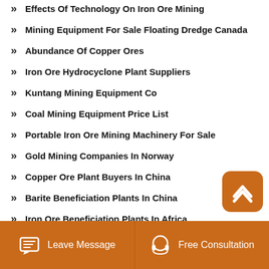Effects Of Technology On Iron Ore Mining
Mining Equipment For Sale Floating Dredge Canada
Abundance Of Copper Ores
Iron Ore Hydrocyclone Plant Suppliers
Kuntang Mining Equipment Co
Coal Mining Equipment Price List
Portable Iron Ore Mining Machinery For Sale
Gold Mining Companies In Norway
Copper Ore Plant Buyers In China
Barite Beneficiation Plants In China
Iron Ore Beneficiation Plants In Africa
Bullock Gold Mining Case Study Solution In Excel
Leave Message  Free Consultation